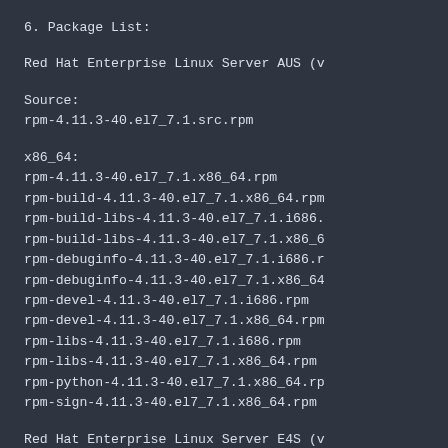6. Package List:
Red Hat Enterprise Linux Server AUS (v
Source:
rpm-4.11.3-40.el7_7.1.src.rpm
x86_64:
rpm-4.11.3-40.el7_7.1.x86_64.rpm
rpm-build-4.11.3-40.el7_7.1.x86_64.rpm
rpm-build-libs-4.11.3-40.el7_7.1.i686.
rpm-build-libs-4.11.3-40.el7_7.1.x86_6
rpm-debuginfo-4.11.3-40.el7_7.1.i686.r
rpm-debuginfo-4.11.3-40.el7_7.1.x86_64
rpm-devel-4.11.3-40.el7_7.1.i686.rpm
rpm-devel-4.11.3-40.el7_7.1.x86_64.rpm
rpm-libs-4.11.3-40.el7_7.1.i686.rpm
rpm-libs-4.11.3-40.el7_7.1.x86_64.rpm
rpm-python-4.11.3-40.el7_7.1.x86_64.rp
rpm-sign-4.11.3-40.el7_7.1.x86_64.rpm
Red Hat Enterprise Linux Server E4S (v
Source:
rpm-4.11.3-40.el7_7.1.src.rpm